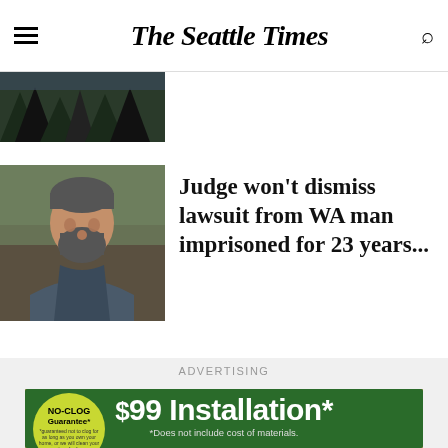The Seattle Times
[Figure (photo): Partial top image showing dark forested hillside]
[Figure (photo): Portrait photo of a bearded man in a gray hoodie]
Judge won't dismiss lawsuit from WA man imprisoned for 23 years...
ADVERTISING
[Figure (photo): Advertisement showing a worker in orange safety vest installing gutters on a house. Badge reads NO-CLOG Guarantee*. Price banner reads $99 Installation* *Does not include cost of materials.]